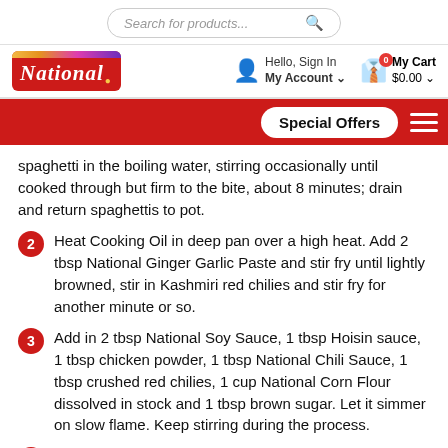Search for products...
[Figure (logo): National Foods logo - red background with white text and colorful ribbon]
Hello, Sign In My Account
0 My Cart $0.00
Special Offers
spaghetti in the boiling water, stirring occasionally until cooked through but firm to the bite, about 8 minutes; drain and return spaghettis to pot.
2 Heat Cooking Oil in deep pan over a high heat. Add 2 tbsp National Ginger Garlic Paste and stir fry until lightly browned, stir in Kashmiri red chilies and stir fry for another minute or so.
3 Add in 2 tbsp National Soy Sauce, 1 tbsp Hoisin sauce, 1 tbsp chicken powder, 1 tbsp National Chili Sauce, 1 tbsp crushed red chilies, 1 cup National Corn Flour dissolved in stock and 1 tbsp brown sugar. Let it simmer on slow flame. Keep stirring during the process.
4 Stir in boiled spaghetti and mix well. Keep stirring, add in fried meat balls and chunks and stir well for 1-2 minutes on medium flame.